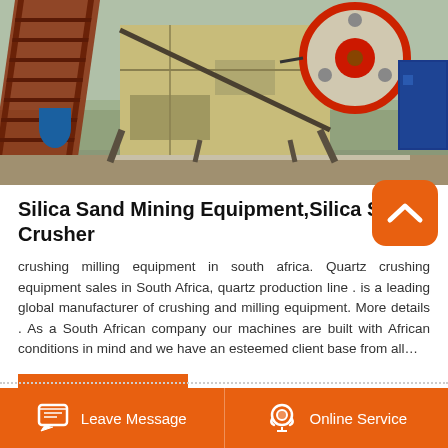[Figure (photo): Industrial silica sand mining / crushing equipment outdoors. Shows a large jaw crusher with a red flywheel, a red conveyor/ladder structure on the left, a yellow machine body, a blue electric motor on the right, and a concrete base on a cleared ground.]
Silica Sand Mining Equipment,Silica Sand Crusher
crushing milling equipment in south africa. Quartz crushing equipment sales in South Africa, quartz production line . is a leading global manufacturer of crushing and milling equipment. More details . As a South African company our machines are built with African conditions in mind and we have an esteemed client base from all…
READ MORE
Leave Message   Online Service